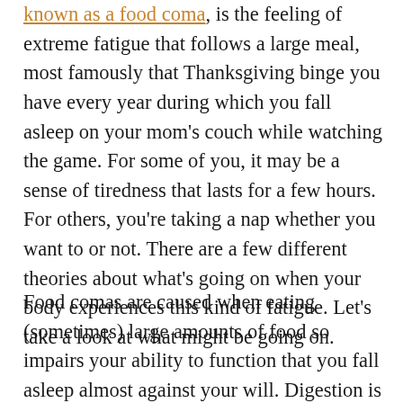known as a food coma, is the feeling of extreme fatigue that follows a large meal, most famously that Thanksgiving binge you have every year during which you fall asleep on your mom's couch while watching the game. For some of you, it may be a sense of tiredness that lasts for a few hours. For others, you're taking a nap whether you want to or not. There are a few different theories about what's going on when your body experiences this kind of fatigue. Let's take a look at what might be going on.
Food comas are caused when eating (sometimes) large amounts of food so impairs your ability to function that you fall asleep almost against your will. Digestion is difficult on the body, which is why